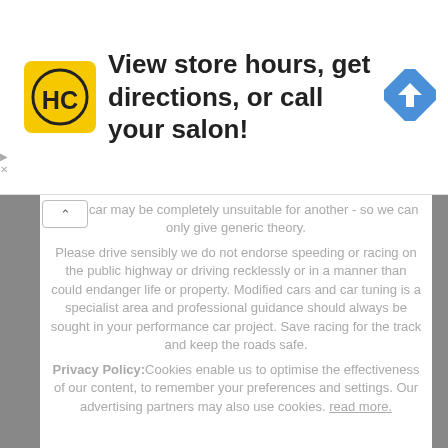[Figure (logo): HC logo on yellow background and navigation arrow icon, with ad text 'View store hours, get directions, or call your salon!']
del of car may be completely unsuitable for another - so we can only give generic theory.
Please drive sensibly we do not endorse speeding or racing on the public highway or driving recklessly or in a manner than could endanger life or property. Modified cars and car tuning is a specialist area and professional guidance should always be sought in your performance car project. Save racing for the track and keep the roads safe.
Privacy Policy:Cookies enable us to optimise the effectiveness of our content, to remember your preferences and settings. Our advertising partners may also use cookies. read more.